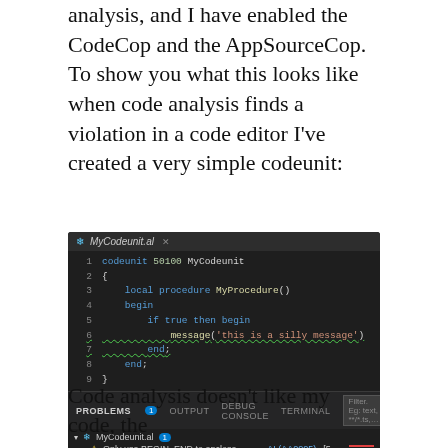analysis, and I have enabled the CodeCop and the AppSourceCop. To show you what this looks like when code analysis finds a violation in a code editor I've created a very simple codeunit:
[Figure (screenshot): VS Code editor screenshot showing MyCodeunit.al with code: codeunit 50100 MyCodeunit { local procedure MyProcedure() begin if true then begin message('this is a silly message'); end; end; } with green squiggly underlines on lines 6-7 and Problems panel showing: Only use BEGIN..END to enclose compound statements. AL(AA0005) [5, 22]]
Code analysis doesn't like my code, the